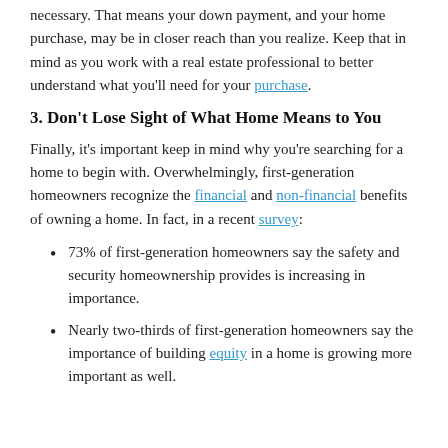necessary. That means your down payment, and your home purchase, may be in closer reach than you realize. Keep that in mind as you work with a real estate professional to better understand what you'll need for your purchase.
3. Don't Lose Sight of What Home Means to You
Finally, it's important keep in mind why you're searching for a home to begin with. Overwhelmingly, first-generation homeowners recognize the financial and non-financial benefits of owning a home. In fact, in a recent survey:
73% of first-generation homeowners say the safety and security homeownership provides is increasing in importance.
Nearly two-thirds of first-generation homeowners say the importance of building equity in a home is growing more important as well.